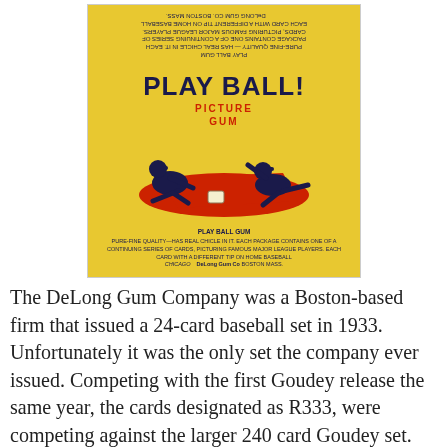[Figure (photo): Photograph of a yellow 'Play Ball! Picture Gum' wax wrapper from the DeLong Gum Company, showing upside-down text at top (back of wrapper), large bold 'PLAY BALL!' text, 'PICTURE GUM' in red, an illustration of two baseball players at a base, and small text at bottom describing the product from DeLong Gum Co.]
The DeLong Gum Company was a Boston-based firm that issued a 24-card baseball set in 1933. Unfortunately it was the only set the company ever issued. Competing with the first Goudey release the same year, the cards designated as R333, were competing against the larger 240 card Goudey set. The Delong's, considered the more attractive cards, are now rarer and possibly more sought after than Goudey's